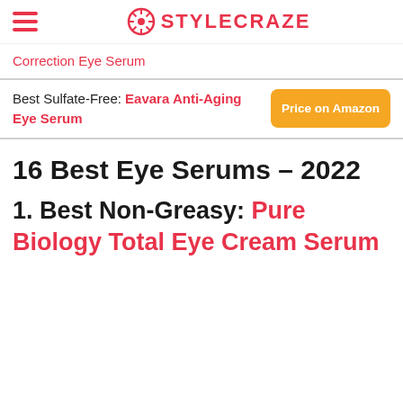STYLECRAZE
Correction Eye Serum
Best Sulfate-Free: Eavara Anti-Aging Eye Serum
16 Best Eye Serums – 2022
1. Best Non-Greasy: Pure Biology Total Eye Cream Serum